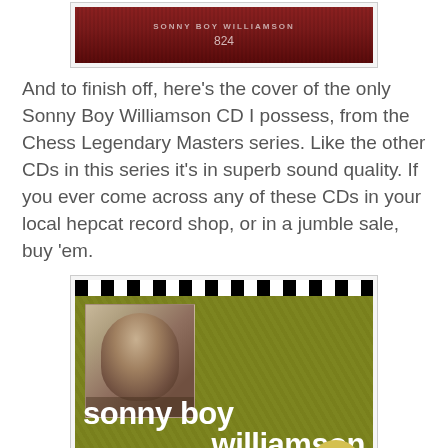[Figure (photo): Partial view of a vinyl record label showing 'SONNY BOY WILLIAMSON' text and the number 824 on a dark red label]
And to finish off, here's the cover of the only Sonny Boy Williamson CD I possess, from the Chess Legendary Masters series. Like the other CDs in this series it's in superb sound quality. If you ever come across any of these CDs in your local hepcat record shop, or in a jumble sale, buy 'em.
[Figure (photo): CD cover of 'Sonny Boy Williamson - His Best' from the Chess Legendary Masters series. Yellow-green textured background with black and white checkerboard top border. Sepia-toned portrait photo of Sonny Boy Williamson in upper left. Large white bold text reads 'sonny boy williamson' with 'his best' subtitle. Chess Legendary Masters Series circular badge in lower right.]